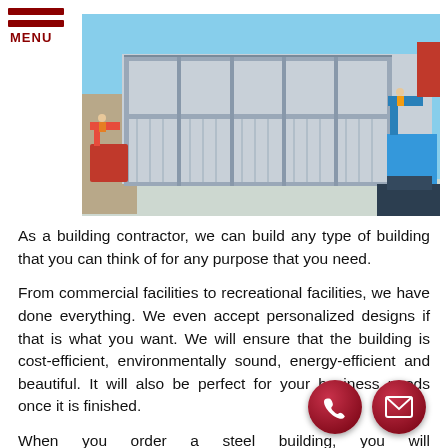MENU
[Figure (photo): Steel building frame under construction with workers on lifts and construction equipment on a clear day]
As a building contractor, we can build any type of building that you can think of for any purpose that you need.
From commercial facilities to recreational facilities, we have done everything. We even accept personalized designs if that is what you want. We will ensure that the building is cost-efficient, environmentally sound, energy-efficient and beautiful. It will also be perfect for your business needs once it is finished.
When you order a steel building, you will [py]ow that the structure is flexible to match wha[t you nee]. You